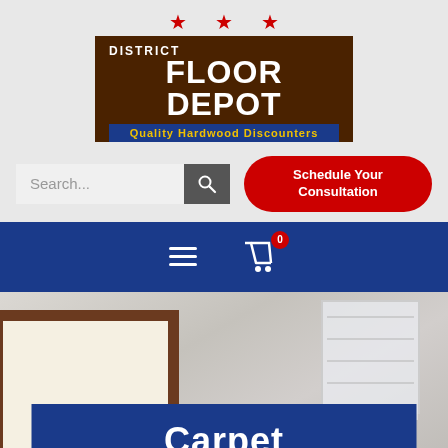[Figure (logo): District Floor Depot logo with three red stars above a brown box containing 'DISTRICT FLOOR DEPOT' in white text and a blue banner reading 'Quality Hardwood Discounters']
[Figure (screenshot): Search bar with placeholder text 'Search...' and a dark search button icon]
Schedule Your Consultation
[Figure (screenshot): Navy blue navigation bar with hamburger menu icon and shopping cart icon with red badge showing 0]
[Figure (photo): Interior room photo showing a framed picture on the left and window with blinds on the right, with a navy blue overlay box at the bottom showing 'Carpet' in large white bold text with a yellow underline and partial text below reading 'Cut Pile, Loop, Pattern']